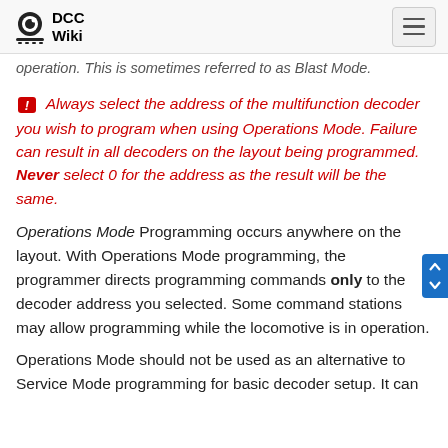DCC Wiki
operation. This is sometimes referred to as Blast Mode.
🔔 Always select the address of the multifunction decoder you wish to program when using Operations Mode. Failure can result in all decoders on the layout being programmed. Never select 0 for the address as the result will be the same.
Operations Mode Programming occurs anywhere on the layout. With Operations Mode programming, the programmer directs programming commands only to the decoder address you selected. Some command stations may allow programming while the locomotive is in operation.
Operations Mode should not be used as an alternative to Service Mode programming for basic decoder setup. It can be useful for fine-tuning and some operators while the vehicle is...